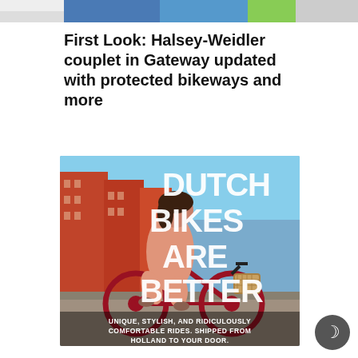[Figure (photo): Partial top banner image showing colorful background strip at top of page]
First Look: Halsey-Weidler couplet in Gateway updated with protected bikeways and more
[Figure (illustration): Advertisement image showing a woman riding a red Dutch bicycle on a city street with text overlay reading DUTCH BIKES ARE BETTER and subtext UNIQUE, STYLISH, AND RIDICULOUSLY COMFORTABLE RIDES. SHIPPED FROM HOLLAND TO YOUR DOOR.]